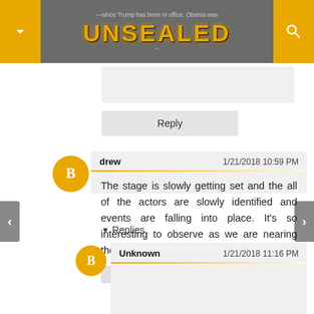UNSEALED
Reply
drew  1/21/2018 10:59 PM
The stage is slowly getting set and the all of the actors are slowly identified and events are falling into place. It's so interesting to observe as we are nearing the glorious Day of the Lord.
Reply
▼ Replies
Unknown  1/21/2018 11:16 PM